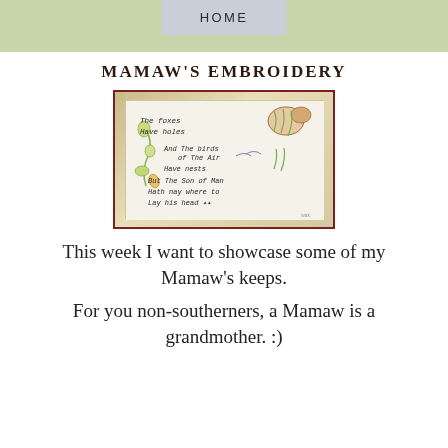HOME
MAMAW'S EMBROIDERY
[Figure (photo): A photograph of an embroidered cloth with the text: 'The foxes Have Holes And The birds of The Air Have nests But The Son of Man Hath nay where to Lay his head' with floral and animal embroidery designs, set on a cushion background. Watermark 'wak' in bottom right.]
This week I want to showcase some of my Mamaw's keeps.
For you non-southerners, a Mamaw is a grandmother. :)